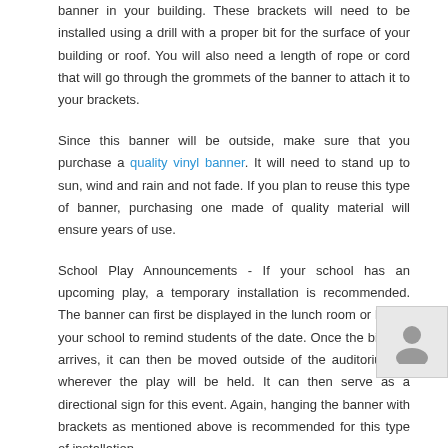banner in your building. These brackets will need to be installed using a drill with a proper bit for the surface of your building or roof. You will also need a length of rope or cord that will go through the grommets of the banner to attach it to your brackets.
Since this banner will be outside, make sure that you purchase a quality vinyl banner. It will need to stand up to sun, wind and rain and not fade. If you plan to reuse this type of banner, purchasing one made of quality material will ensure years of use.
School Play Announcements - If your school has an upcoming play, a temporary installation is recommended. The banner can first be displayed in the lunch room or hall of your school to remind students of the date. Once the big day arrives, it can then be moved outside of the auditorium or wherever the play will be held. It can then serve as a directional sign for this event. Again, hanging the banner with brackets as mentioned above is recommended for this type of installation.
Smaller Informational Banners - Small banners can be used to